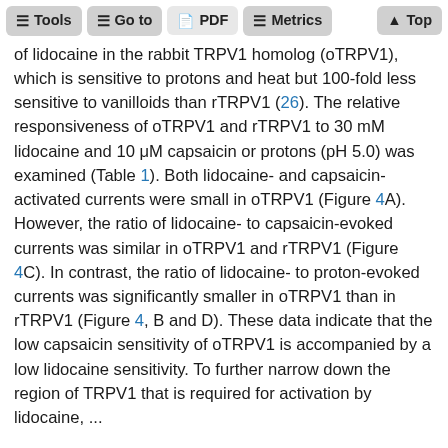Tools  Go to  PDF  Metrics  Top
of lidocaine in the rabbit TRPV1 homolog (oTRPV1), which is sensitive to protons and heat but 100-fold less sensitive to vanilloids than rTRPV1 (26). The relative responsiveness of oTRPV1 and rTRPV1 to 30 mM lidocaine and 10 μM capsaicin or protons (pH 5.0) was examined (Table 1). Both lidocaine- and capsaicin-activated currents were small in oTRPV1 (Figure 4A). However, the ratio of lidocaine- to capsaicin-evoked currents was similar in oTRPV1 and rTRPV1 (Figure 4C). In contrast, the ratio of lidocaine- to proton-evoked currents was significantly smaller in oTRPV1 than in rTRPV1 (Figure 4, B and D). These data indicate that the low capsaicin sensitivity of oTRPV1 is accompanied by a low lidocaine sensitivity. To further narrow down the region of TRPV1 that is required for activation by lidocaine, ...